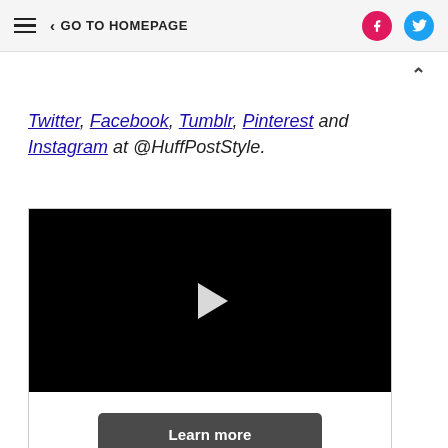GO TO HOMEPAGE
Twitter, Facebook, Tumblr, Pinterest and Instagram at @HuffPostStyle.
[Figure (screenshot): Embedded video player with black background, white play button triangle in center, and a 'Learn more' button below on white background.]